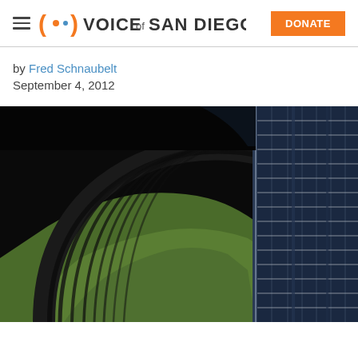Voice of San Diego — DONATE
by Fred Schnaubelt
September 4, 2012
[Figure (photo): Aerial view of a stadium showing the curved roof structure with diagonal shadow stripes cast on green grass field, and seating sections visible on the right side with blue seats in rows.]